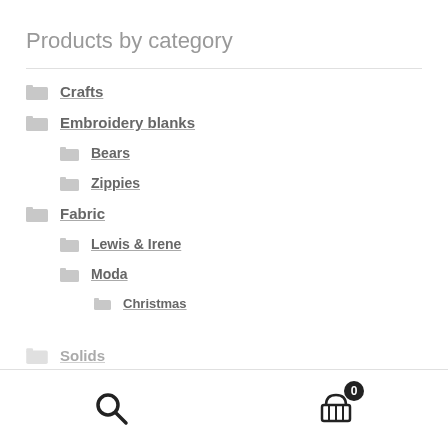Products by category
Crafts
Embroidery blanks
Bears
Zippies
Fabric
Lewis & Irene
Moda
Christmas
Solids